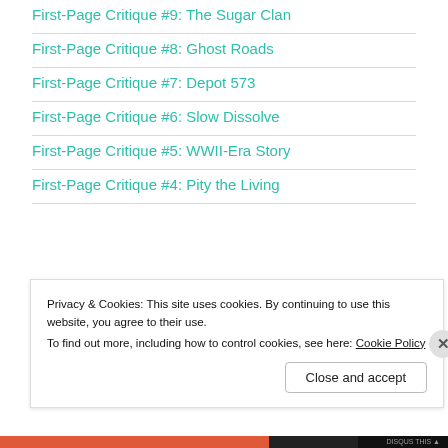First-Page Critique #9: The Sugar Clan
First-Page Critique #8: Ghost Roads
First-Page Critique #7: Depot 573
First-Page Critique #6: Slow Dissolve
First-Page Critique #5: WWII-Era Story
First-Page Critique #4: Pity the Living
Privacy & Cookies: This site uses cookies. By continuing to use this website, you agree to their use.
To find out more, including how to control cookies, see here: Cookie Policy
Close and accept